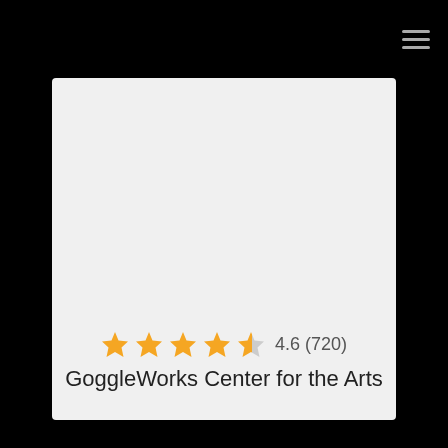[Figure (screenshot): Black navigation bar at top with hamburger menu icon (three horizontal lines) on the right side]
[Figure (infographic): Light gray card area showing a 4.6 star rating (5 orange stars, last one half-filled) with review count (720) and venue name GoggleWorks Center for the Arts]
4.6 (720)
GoggleWorks Center for the Arts